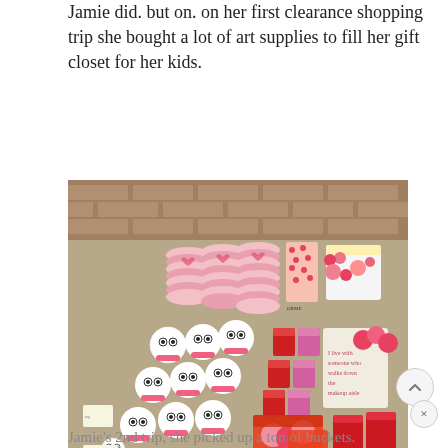Jamie did. but on. on her first clearance shopping trip she bought a lot of art supplies to fill her gift closet for her kids.
[Figure (photo): A photo showing a large collection of pink and red beauty/craft items including stacked circular containers, white and pink ball-shaped items with googly eyes, red and pink boxes, packaged beauty sponges, and other cosmetic items laid out on a floor in front of a brick fireplace.]
Jamie's 2nd trip, she picked up a ton of buckets.